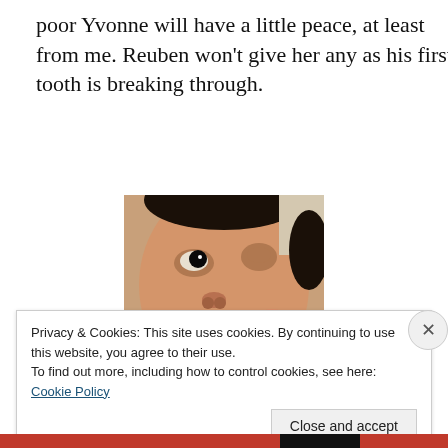poor Yvonne will have a little peace, at least from me. Reuben won't give her any as his first tooth is breaking through.
[Figure (photo): Close-up photo of a baby's face, mouth slightly open, appearing to be teething, with dark eyes looking slightly to the side.]
Privacy & Cookies: This site uses cookies. By continuing to use this website, you agree to their use.
To find out more, including how to control cookies, see here: Cookie Policy
Close and accept